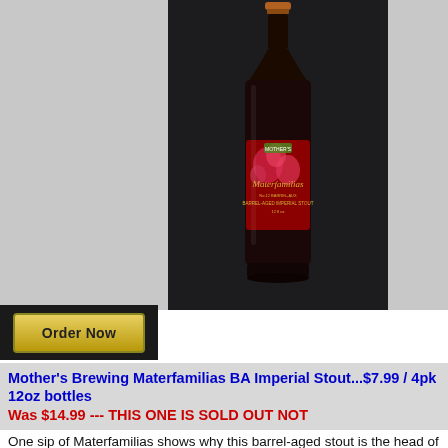[Figure (photo): A dark bottle of Mother's Brewing Materfamilias Barrel-Aged Imperial Stout with a red label featuring floral artwork and gold lettering, photographed against a dark background, displayed on a gray page background.]
[Figure (other): Order Now button with golden/yellow gradient background and dark border on a black background panel.]
Mother's Brewing Materfamilias BA Imperial Stout...$7.99 / 4pk 12oz bottles
Was $14.99 --- THIS ONE IS SOLD OUT NOT
One sip of Materfamilias shows why this barrel-aged stout is the head of